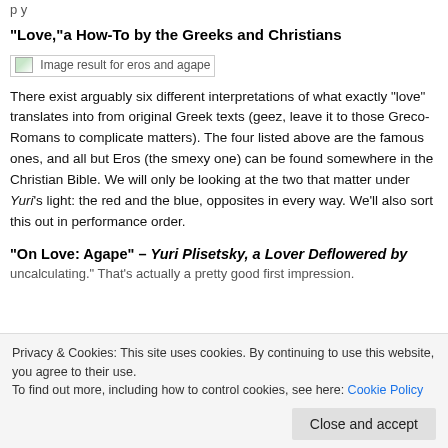p y
“Love,”a How-To by the Greeks and Christians
[Figure (photo): Broken image placeholder: Image result for eros and agape]
There exist arguably six different interpretations of what exactly “love” translates into from original Greek texts (geez, leave it to those Greco-Romans to complicate matters). The four listed above are the famous ones, and all but Eros (the smexy one) can be found somewhere in the Christian Bible. We will only be looking at the two that matter under Yuri’s light: the red and the blue, opposites in every way. We’ll also sort this out in performance order.
“On Love: Agape” – Yuri Plisetsky, a Lover Deflowered by
uncalculating.” That’s actually a pretty good first impression.
Privacy & Cookies: This site uses cookies. By continuing to use this website, you agree to their use.
To find out more, including how to control cookies, see here: Cookie Policy